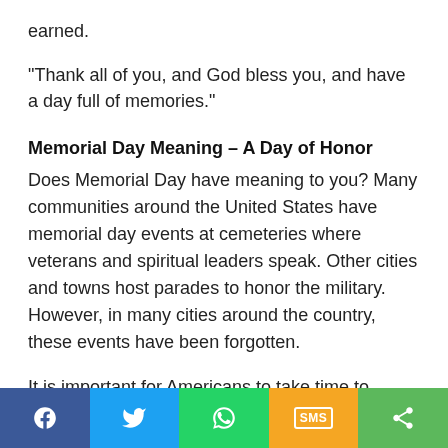earned.
“Thank all of you, and God bless you, and have a day full of memories.”
Memorial Day Meaning – A Day of Honor
Does Memorial Day have meaning to you? Many communities around the United States have memorial day events at cemeteries where veterans and spiritual leaders speak. Other cities and towns host parades to honor the military. However, in many cities around the country, these events have been forgotten.
It is important for Americans to take time to remember the sacrifices that bought their freedom
Facebook | Twitter | WhatsApp | SMS | Share